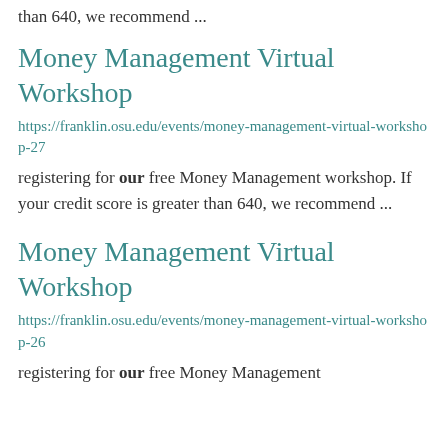than 640, we recommend ...
Money Management Virtual Workshop
https://franklin.osu.edu/events/money-management-virtual-workshop-27
registering for our free Money Management workshop. If your credit score is greater than 640, we recommend ...
Money Management Virtual Workshop
https://franklin.osu.edu/events/money-management-virtual-workshop-26
registering for our free Money Management